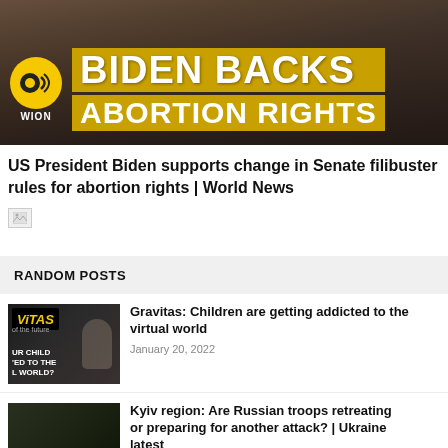[Figure (screenshot): News thumbnail image with WION logo and text overlay: BIDEN BACKS ABORTION RIGHTS on yellow background bar]
US President Biden supports change in Senate filibuster rules for abortion rights | World News
[Figure (other): Broken image placeholder icon]
RANDOM POSTS
[Figure (photo): Thumbnail for Gravitas VR children article - shows child with VR headset on dark background with WION Gravitas branding]
Gravitas: Children are getting addicted to the virtual world
January 20, 2022
[Figure (photo): Thumbnail for Kyiv region article - shows soldiers in dark outdoor setting with text 'full control over Kyiv regained?']
Kyiv region: Are Russian troops retreating or preparing for another attack? | Ukraine latest
April 3, 2022